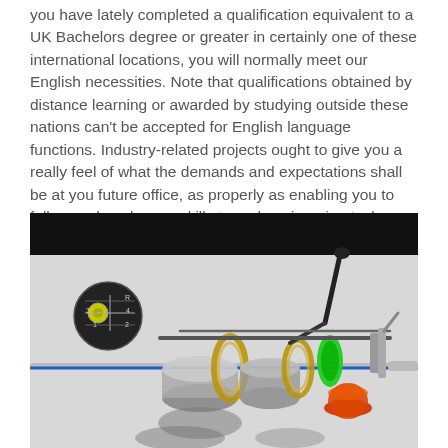you have lately completed a qualification equivalent to a UK Bachelors degree or greater in certainly one of these international locations, you will normally meet our English necessities. Note that qualifications obtained by distance learning or awarded by studying outside these nations can't be accepted for English language functions. Industry-related projects ought to give you a really feel of what the demands and expectations shall be at you future office, as properly as enabling you to follow and apply your skills to real engineering tasks.
[Figure (engineering-diagram): 3D rendered cutaway illustration of an automotive manual transmission/gearbox mechanism showing gears, synchronizer rings (gold/yellow), shift forks, shift lever (black), with a gear pattern diagram (top-left circle showing shift pattern R/1/2/3/4/5), highlighted gears in green and red/orange, and blue shafts running horizontally through the assembly.]